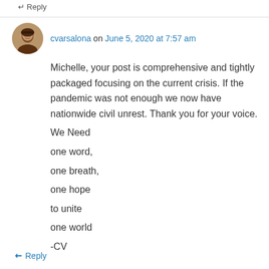↵ Reply
cvarsalona on June 5, 2020 at 7:57 am
Michelle, your post is comprehensive and tightly packaged focusing on the current crisis. If the pandemic was not enough we now have nationwide civil unrest. Thank you for your voice. We Need
one word,
one breath,
one hope
to unite
one world
-CV
↵ Reply